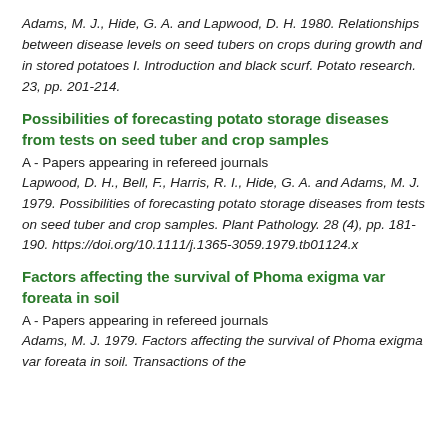Adams, M. J., Hide, G. A. and Lapwood, D. H. 1980. Relationships between disease levels on seed tubers on crops during growth and in stored potatoes I. Introduction and black scurf. Potato research. 23, pp. 201-214.
Possibilities of forecasting potato storage diseases from tests on seed tuber and crop samples
A - Papers appearing in refereed journals
Lapwood, D. H., Bell, F., Harris, R. I., Hide, G. A. and Adams, M. J. 1979. Possibilities of forecasting potato storage diseases from tests on seed tuber and crop samples. Plant Pathology. 28 (4), pp. 181-190. https://doi.org/10.1111/j.1365-3059.1979.tb01124.x
Factors affecting the survival of Phoma exigma var foreata in soil
A - Papers appearing in refereed journals
Adams, M. J. 1979. Factors affecting the survival of Phoma exigma var foreata in soil. Transactions of the